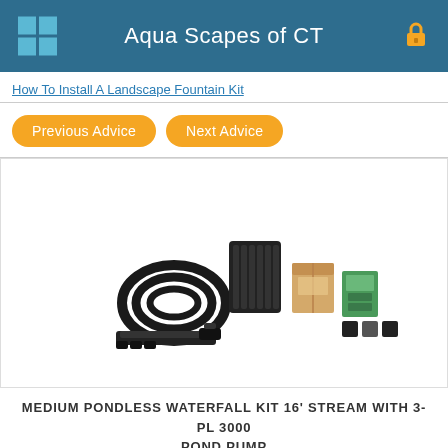Aqua Scapes of CT
How To Install A Landscape Fountain Kit
Previous Advice  Next Advice
[Figure (photo): Product photo of Medium Pondless Waterfall Kit 16 foot stream with 3-PL 3000 Pond Pump, showing pump, hoses, filter basin, and accessories]
MEDIUM PONDLESS WATERFALL KIT 16' STREAM WITH 3-PL 3000 POND PUMP